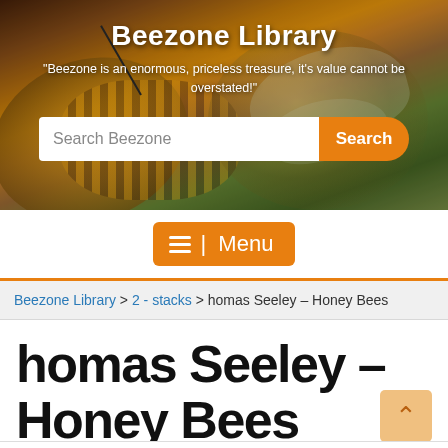[Figure (photo): Close-up macro photo of a honey bee used as a hero banner background for Beezone Library website]
Beezone Library
"Beezone is an enormous, priceless treasure, it's value cannot be overstated!"
Search Beezone | Search
≡ | Menu
Beezone Library > 2 - stacks > homas Seeley – Honey Bees
homas Seeley – Honey Bees